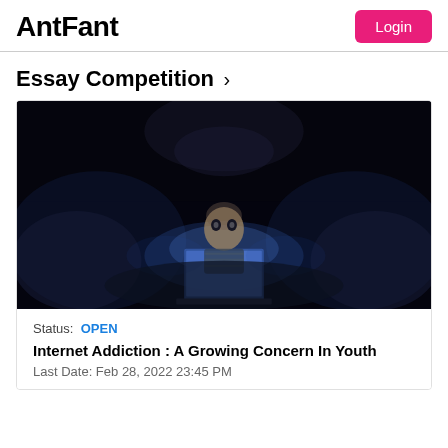AntFant
Essay Competition >
[Figure (photo): Dark photograph of a child lying in bed illuminated by blue light from a laptop screen, surrounded by darkness]
Status: OPEN
Internet Addiction : A Growing Concern In Youth
Last Date: Feb 28, 2022 23:45 PM